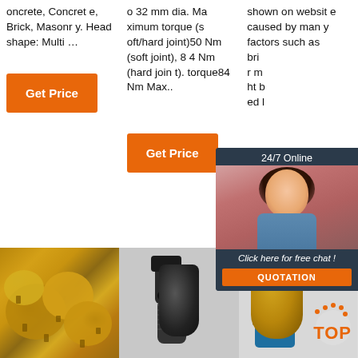oncrete, Concrete, Brick, Masonry. Head shape: Multi ...
o 32 mm dia. Maximum torque (soft/hard joint)50 Nm (soft joint), 84 Nm (hard joint). torque84 Nm Max..
shown on website caused by many factors such as brightness of you r m... ht b... ed l...
Get Price
Get Price
G...
[Figure (photo): Multiple gold-colored drill bits arranged together]
[Figure (photo): Black metal drill bit parts on white background]
[Figure (photo): Gold drill bit on blue background with TOP badge]